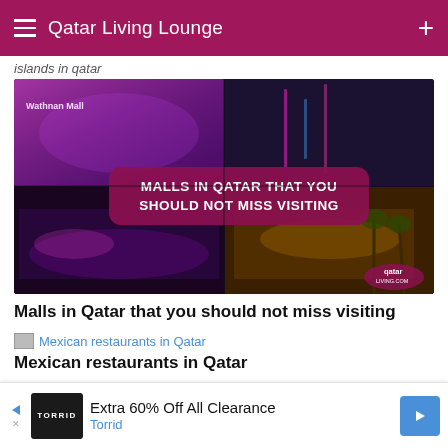Qatar Living Lounge
islands in qatar
[Figure (photo): Collage of four shopping malls in Qatar at night with neon lights. Overlay text reads: MALLS IN QATAR THAT YOU SHOULD NOT MISS VISITING. Qatar Living logo visible bottom right.]
Malls in Qatar that you should not miss visiting
[Figure (photo): Thumbnail image link for Mexican restaurants in Qatar article]
Mexican restaurants in Qatar
[Figure (photo): Partially visible colorful image at bottom of page]
Extra 60% Off All Clearance
Torrid